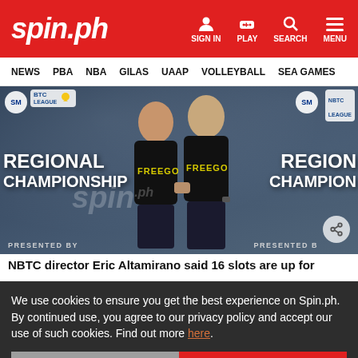spin.ph — SIGN IN | PLAY | SEARCH | MENU
NEWS | PBA | NBA | GILAS | UAAP | VOLLEYBALL | SEA GAMES
[Figure (photo): Two men wearing FREEGO black t-shirts shaking hands in front of NBTC Regional Championship banners. Spin.ph watermark visible. SM and BTC/NBTC League badges on the backdrop.]
NBTC director Eric Altamirano said 16 slots are up for
We use cookies to ensure you get the best experience on Spin.ph. By continued use, you agree to our privacy policy and accept our use of such cookies. Find out more here.
I DISAGREE
I AGREE